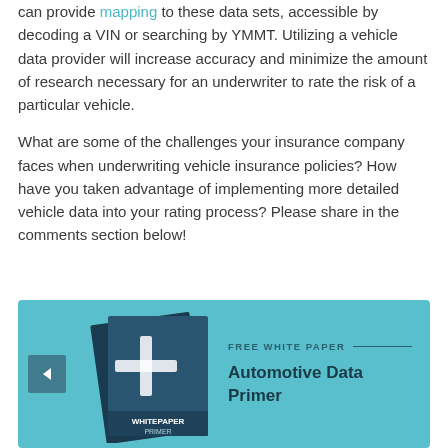can provide mapping to these data sets, accessible by decoding a VIN or searching by YMMT. Utilizing a vehicle data provider will increase accuracy and minimize the amount of research necessary for an underwriter to rate the risk of a particular vehicle.
What are some of the challenges your insurance company faces when underwriting vehicle insurance policies? How have you taken advantage of implementing more detailed vehicle data into your rating process? Please share in the comments section below!
[Figure (other): Promotional banner with teal background showing a whitepaper booklet image on the left side and text on the right reading 'FREE WHITE PAPER' with 'Automotive Data Primer' title. A back navigation arrow button is visible on the left edge.]